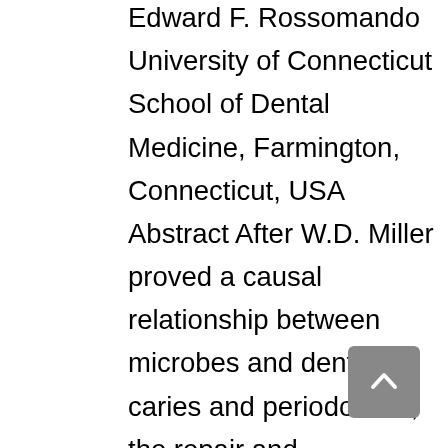Edward F. Rossomando University of Connecticut School of Dental Medicine, Farmington, Connecticut, USA Abstract After W.D. Miller proved a causal relationship between microbes and dental caries and periodontitis, the repair and replacement of damaged or lost teeth resulting from microbial activity dominated 20th century dental practice. In this study, I predict that in the 21st century dental practice will shift to the treatment of those dental diseases not caused by microbes. As dentists already treat some nonmicrobial diseases, I will focus on craniofacial malformations, the group of nonmicrobial